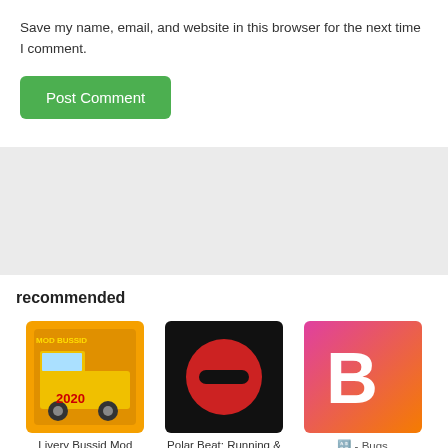Save my name, email, and website in this browser for the next time I comment.
Post Comment
recommended
[Figure (screenshot): Livery Bussid Mod app icon — orange truck game cover with text '2020']
Livery Bussid Mod
[Figure (screenshot): Polar Beat: Running & app icon — red circle with minus sign on black background]
Polar Beat: Running &
[Figure (screenshot): Bugs app icon — letter B on pink-orange gradient background]
🔠 - Bugs
[Figure (screenshot): App icon partially visible — blue/teal wave logo]
[Figure (screenshot): App icon — person with dark hat]
[Figure (screenshot): App icon — glowing triangle/pyramid shape on dark background]